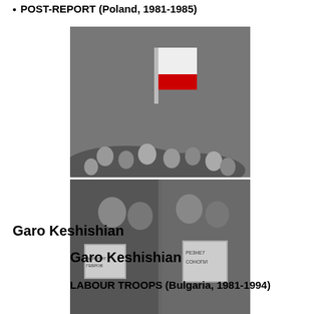POST-REPORT (Poland, 1981-1985)
[Figure (photo): Composite of three black-and-white photographs: top shows a crowd with a flag, middle shows protest scenes with signs, bottom shows a mosaic of faces forming a pattern.]
Garo Keshishian
Garo Keshishian
LABOUR TROOPS (Bulgaria, 1981-1994)